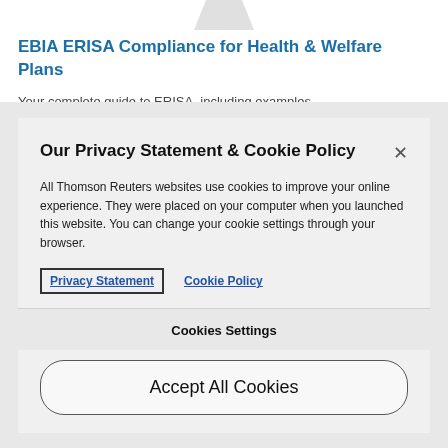EBIA ERISA Compliance for Health & Welfare Plans
Your complete guide to ERISA, including examples,
Our Privacy Statement & Cookie Policy
All Thomson Reuters websites use cookies to improve your online experience. They were placed on your computer when you launched this website. You can change your cookie settings through your browser.
Privacy Statement   Cookie Policy
Cookies Settings
Accept All Cookies